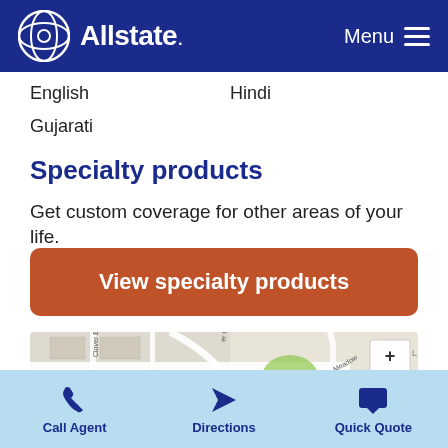Allstate — Menu
English
Hindi
Gujarati
Specialty products
Get custom coverage for other areas of your life.
View specialty products
[Figure (map): Street map showing Clover Bar road, Meadow street, and surrounding streets with zoom controls (+/-) on the right side.]
Call Agent   Directions   Quick Quote